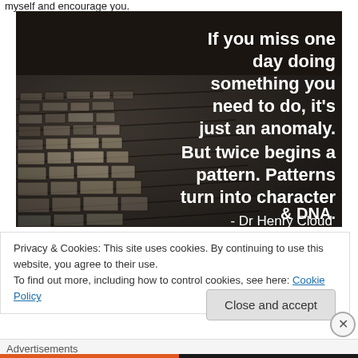myself and encourage you.
[Figure (photo): Cobblestone pavement photo with white text quote overlay: 'If you miss one day doing something you need to do, it's just an anomaly. But twice begins a pattern. Patterns turn into character & DNA. - Dr Henry Cloud']
Privacy & Cookies: This site uses cookies. By continuing to use this website, you agree to their use.
To find out more, including how to control cookies, see here: Cookie Policy
Close and accept
Advertisements